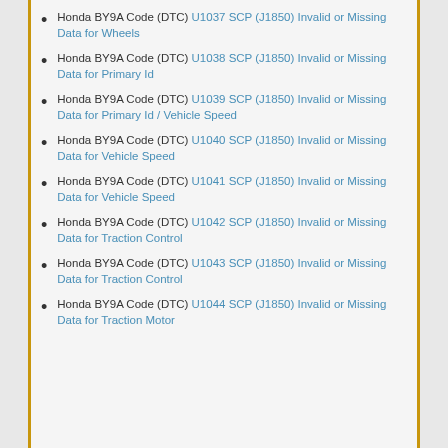Honda BY9A Code (DTC) U1037 SCP (J1850) Invalid or Missing Data for Wheels
Honda BY9A Code (DTC) U1038 SCP (J1850) Invalid or Missing Data for Primary Id
Honda BY9A Code (DTC) U1039 SCP (J1850) Invalid or Missing Data for Primary Id / Vehicle Speed
Honda BY9A Code (DTC) U1040 SCP (J1850) Invalid or Missing Data for Vehicle Speed
Honda BY9A Code (DTC) U1041 SCP (J1850) Invalid or Missing Data for Vehicle Speed
Honda BY9A Code (DTC) U1042 SCP (J1850) Invalid or Missing Data for Traction Control
Honda BY9A Code (DTC) U1043 SCP (J1850) Invalid or Missing Data for Traction Control
Honda BY9A Code (DTC) U1044 SCP (J1850) Invalid or Missing Data for Traction Motor